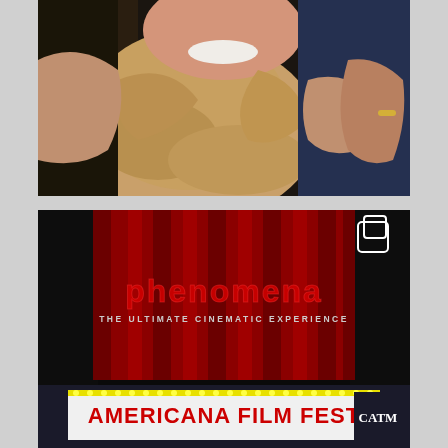[Figure (photo): Close-up photo of a smiling woman with a golden/beige fabric headscarf, with another person wearing dark clothing whose hands are visible in the foreground]
[Figure (photo): Two-part image: top shows a dark theater interior with a red curtain stage backdrop displaying the Phenomena 'The Ultimate Cinematic Experience' logo in glowing letters; bottom shows a theater marquee with the text 'AMERICANA FILM FEST' in red letters on a white marquee with decorative lights, with a partial 'CATM' or similar logo visible on the right]